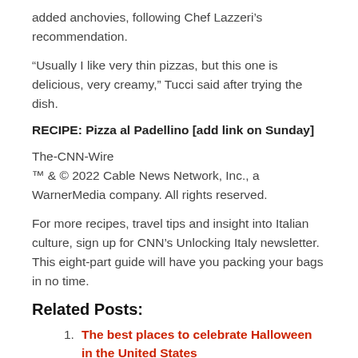added anchovies, following Chef Lazzeri’s recommendation.
“Usually I like very thin pizzas, but this one is delicious, very creamy,” Tucci said after trying the dish.
RECIPE: Pizza al Padellino [add link on Sunday]
The-CNN-Wire
™ & © 2022 Cable News Network, Inc., a WarnerMedia company. All rights reserved.
For more recipes, travel tips and insight into Italian culture, sign up for CNN’s Unlocking Italy newsletter. This eight-part guide will have you packing your bags in no time.
Related Posts:
The best places to celebrate Halloween in the United States
A Quick Guide to Your CPR Vacation Travel...